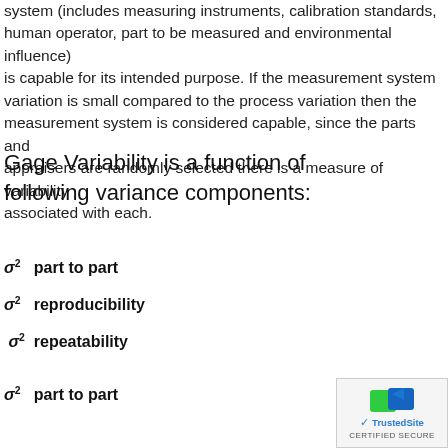system (includes measuring instruments, calibration standards, human operator, part to be measured and environmental influence) is capable for its intended purpose. If the measurement system variation is small compared to the process variation then the measurement system is considered capable, since the parts and appraisers are randomly selected there is a measure of variability associated with each.
Gage Variability is a function of following variance components:
σ²  part to part
σ²  reproducibility
σ²  repeatability
σ²  part to part